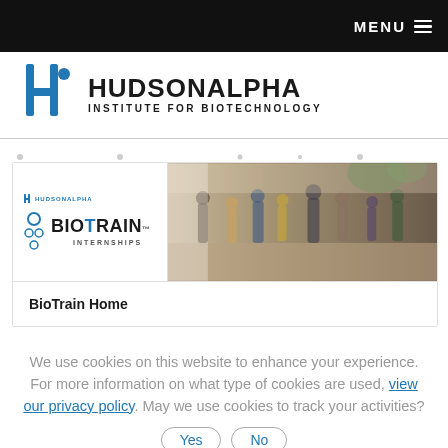MENU
[Figure (logo): HudsonAlpha Institute for Biotechnology logo with blue stylized 'ha' icon and bold uppercase text]
[Figure (screenshot): BioTrain Internships banner showing BioTrain logo on left and a photo of people in a building on the right, with BioTrain Home navigation link below]
We use cookies on this website to enhance your experience. For more information on what type of cookies are used, view our privacy policy. May we use cookies to track your activities? Yes No